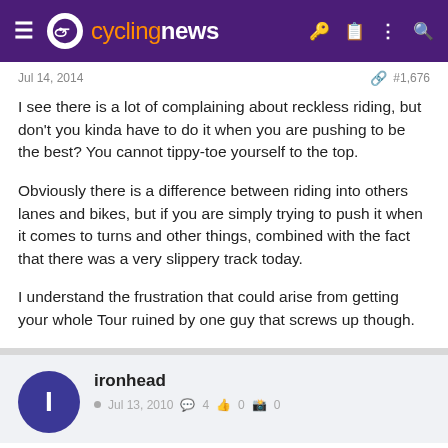cyclingnews
Jul 14, 2014   #1,676
I see there is a lot of complaining about reckless riding, but don't you kinda have to do it when you are pushing to be the best? You cannot tippy-toe yourself to the top.

Obviously there is a difference between riding into others lanes and bikes, but if you are simply trying to push it when it comes to turns and other things, combined with the fact that there was a very slippery track today.

I understand the frustration that could arise from getting your whole Tour ruined by one guy that screws up though.
ironhead
Jul 13, 2010  4  0  0